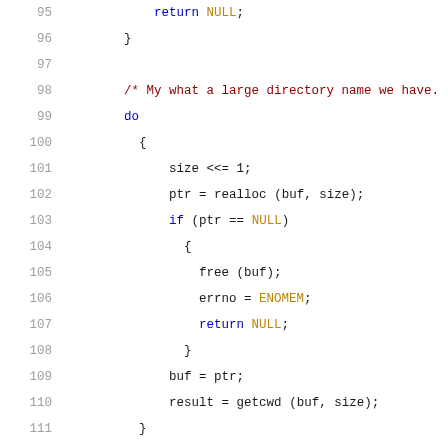Code listing lines 95-116, C source code showing a do-while loop for directory name handling with realloc, getcwd, errno, and conditional checks.